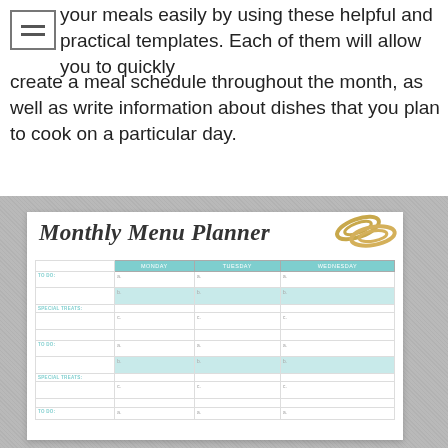your meals easily by using these helpful and practical templates. Each of them will allow you to quickly create a meal schedule throughout the month, as well as write information about dishes that you plan to cook on a particular day.
[Figure (photo): A Monthly Menu Planner template shown on a textured grey background with gold paper clips, showing a calendar grid with MONDAY, TUESDAY, WEDNESDAY columns and rows labeled TO DO and SPECIAL TREATS]